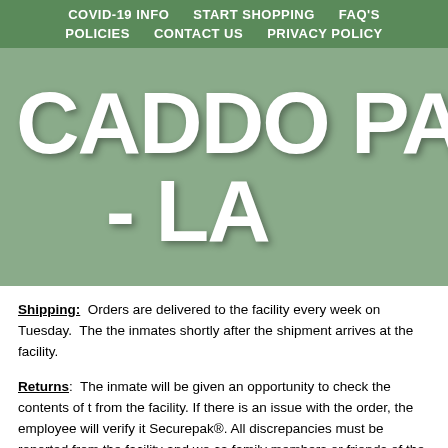COVID-19 INFO   START SHOPPING   FAQ'S   POLICIES   CONTACT US   PRIVACY POLICY
CADDO PARISH - LA
Shipping: Orders are delivered to the facility every week on Tuesday. The inmates shortly after the shipment arrives at the facility.
Returns: The inmate will be given an opportunity to check the contents of t from the facility. If there is an issue with the order, the employee will verify it Securepak®. All discrepancies must be reported from the facility and we ca family members or friends of the inmate. All discrepancies will be corrected.